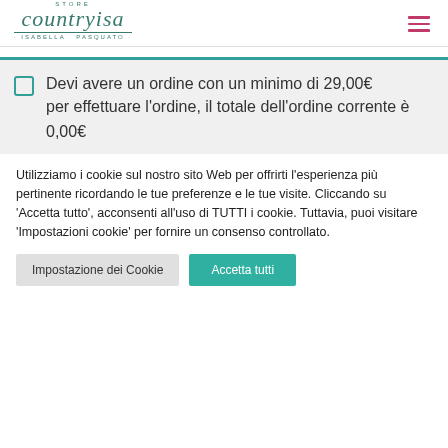[Figure (logo): Countryisa store logo with Isabella Pasquato subtitle in teal cursive script]
Devi avere un ordine con un minimo di 29,00€ per effettuare l'ordine, il totale dell'ordine corrente è 0,00€
Utilizziamo i cookie sul nostro sito Web per offrirti l'esperienza più pertinente ricordando le tue preferenze e le tue visite. Cliccando su 'Accetta tutto', acconsenti all'uso di TUTTI i cookie. Tuttavia, puoi visitare 'Impostazioni cookie' per fornire un consenso controllato.
Impostazione dei Cookie | Accetta tutti